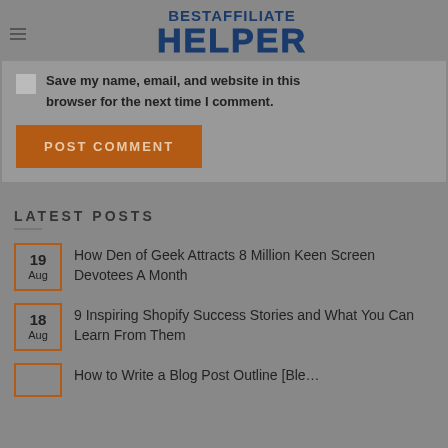BESTAFFILIATE HELPER
Save my name, email, and website in this browser for the next time I comment.
POST COMMENT
LATEST POSTS
19 Aug – How Den of Geek Attracts 8 Million Keen Screen Devotees A Month
18 Aug – 9 Inspiring Shopify Success Stories and What You Can Learn From Them
How to Write a Blog Post Outline [Ble…